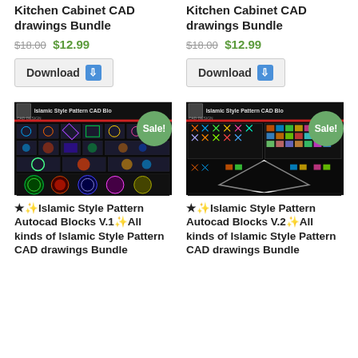Kitchen Cabinet CAD drawings Bundle
$18.00 $12.99
Download
Kitchen Cabinet CAD drawings Bundle
$18.00 $12.99
Download
[Figure (photo): Islamic Style Pattern CAD Blocks V.1 product image with Sale! badge]
★✨Islamic Style Pattern Autocad Blocks V.1✨All kinds of Islamic Style Pattern CAD drawings Bundle
[Figure (photo): Islamic Style Pattern CAD Blocks V.2 product image with Sale! badge]
★✨Islamic Style Pattern Autocad Blocks V.2✨All kinds of Islamic Style Pattern CAD drawings Bundle